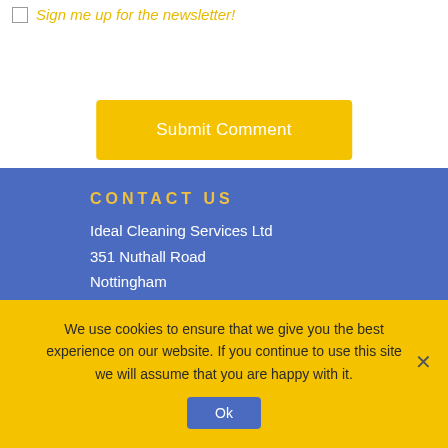Sign me up for the newsletter!
Submit Comment
CONTACT US
Ideal Cleaning Services Ltd
351 Nuthall Road
Nottingham
NG8 5BX
We use cookies to ensure that we give you the best experience on our website. If you continue to use this site we will assume that you are happy with it.